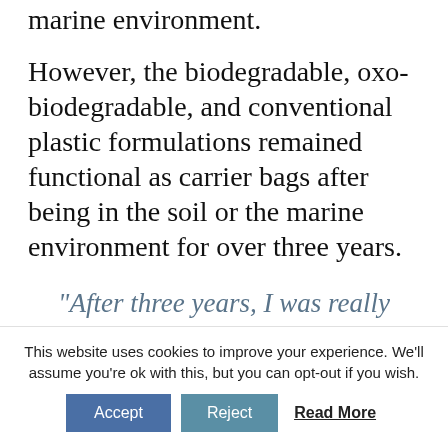marine environment.
However, the biodegradable, oxo-biodegradable, and conventional plastic formulations remained functional as carrier bags after being in the soil or the marine environment for over three years.
“After three years, I was really amazed that any of the bags could still hold a load of shopping. For biodegradable bags to be able to do that was the most
This website uses cookies to improve your experience. We’ll assume you’re ok with this, but you can opt-out if you wish. Accept Reject Read More